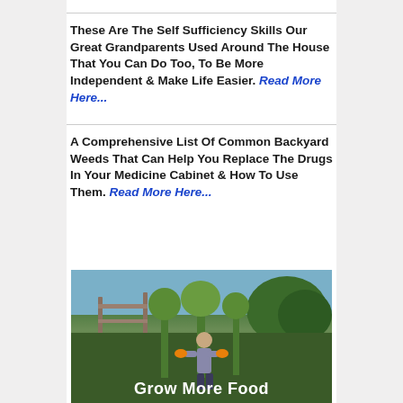These Are The Self Sufficiency Skills Our Great Grandparents Used Around The House That You Can Do Too, To Be More Independent & Make Life Easier. Read More Here...
A Comprehensive List Of Common Backyard Weeds That Can Help You Replace The Drugs In Your Medicine Cabinet & How To Use Them. Read More Here...
[Figure (photo): Woman in a garden with large plants and wooden fence, with text overlay 'Grow More Food']